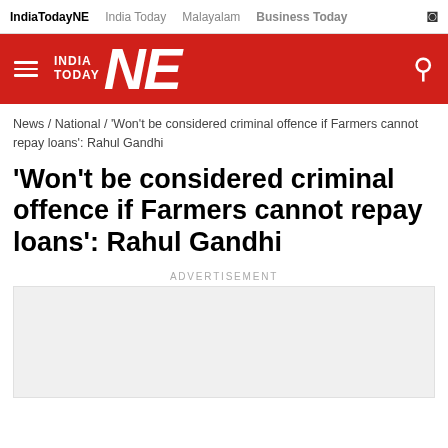IndiaTodayNE   India Today   Malayalam   Business Today
[Figure (logo): India Today NE logo — white text on red background with hamburger menu and search icon]
News / National / 'Won't be considered criminal offence if Farmers cannot repay loans': Rahul Gandhi
'Won't be considered criminal offence if Farmers cannot repay loans': Rahul Gandhi
ADVERTISEMENT
[Figure (other): Empty advertisement placeholder box with light grey background]